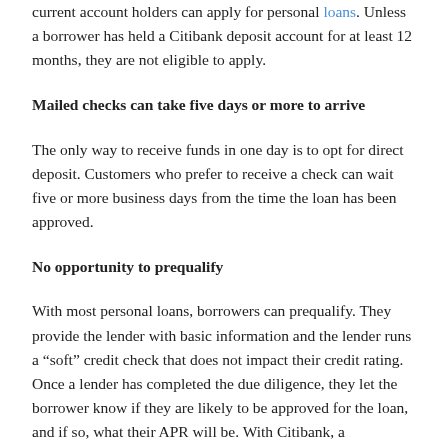current account holders can apply for personal loans. Unless a borrower has held a Citibank deposit account for at least 12 months, they are not eligible to apply.
Mailed checks can take five days or more to arrive
The only way to receive funds in one day is to opt for direct deposit. Customers who prefer to receive a check can wait five or more business days from the time the loan has been approved.
No opportunity to prequalify
With most personal loans, borrowers can prequalify. They provide the lender with basic information and the lender runs a “soft” credit check that does not impact their credit rating. Once a lender has completed the due diligence, they let the borrower know if they are likely to be approved for the loan, and if so, what their APR will be. With Citibank, a